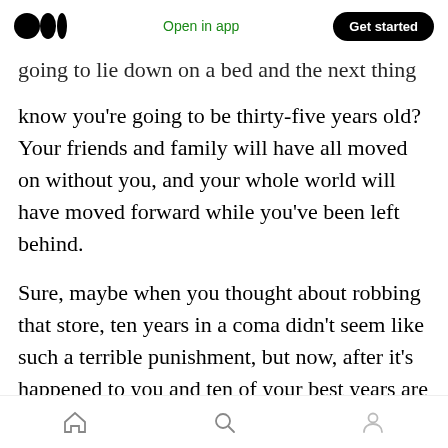Open in app | Get started
going to lie down on a bed and the next thing you know you're going to be thirty-five years old? Your friends and family will have all moved on without you, and your whole world will have moved forward while you've been left behind.
Sure, maybe when you thought about robbing that store, ten years in a coma didn't seem like such a terrible punishment, but now, after it's happened to you and ten of your best years are gone, how anxious will you be for that to happen to you again? Do you want to wake up the next time in a fifty-year-old body?
Home | Search | Profile